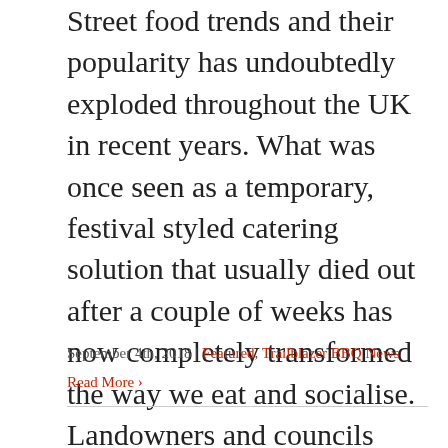Street food trends and their popularity has undoubtedly exploded throughout the UK in recent years. What was once seen as a temporary, festival styled catering solution that usually died out after a couple of weeks has now completely transformed the way we eat and socialise. Landowners and councils now realise street food is a relatively cheap and easy way to revive and lift derelict areas. It's therefore no surprise that street side catering is now recognised as a promising career choice. Many top cooks are now being brought up on the streets! Your menu is often your most valued asset. After all it's your love and passion for food that's likely driven you towards the commercial catering and street food [...]
September 4th, 2018 | Featured, Trailblazer BBQ News
Read More ›